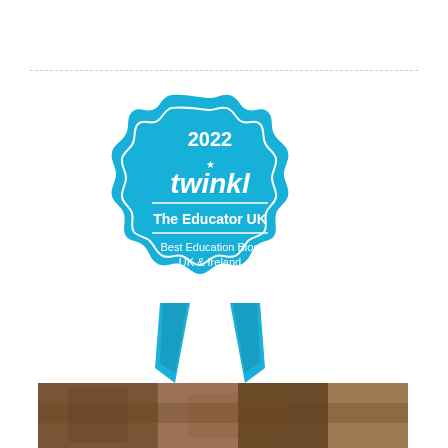[Figure (logo): Twinkl 2022 award badge in blue: 'The Educator UK - Best Education Blog UK & Ireland' with three stars and ribbon tails]
[Figure (photo): Bottom strip showing a partial close-up photo of a person or animal with brown tones]